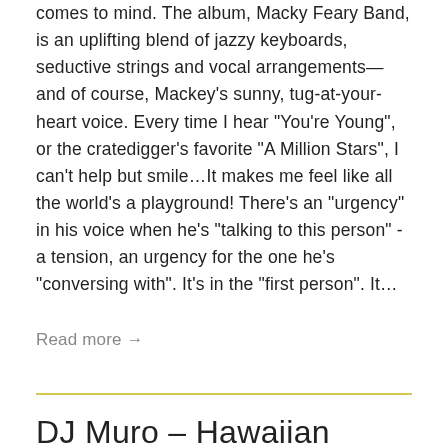comes to mind. The album, Macky Feary Band, is an uplifting blend of jazzy keyboards, seductive strings and vocal arrangements—and of course, Mackey's sunny, tug-at-your-heart voice. Every time I hear "You're Young", or the cratedigger's favorite "A Million Stars", I can't help but smile…It makes me feel like all the world's a playground! There's an "urgency" in his voice when he's "talking to this person" - a tension, an urgency for the one he's "conversing with". It's in the "first person". It…
Read more →
DJ Muro – Hawaiian Breaks (with tracklist)
August 2, 2010 • Hawaiian Breaks